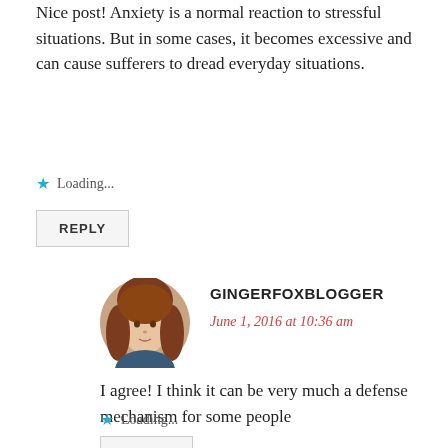Nice post! Anxiety is a normal reaction to stressful situations. But in some cases, it becomes excessive and can cause sufferers to dread everyday situations.
Loading...
REPLY
GINGERFOXBLOGGER
June 1, 2016 at 10:36 am
I agree! I think it can be very much a defense mechanism for some people
Loading...
REPLY